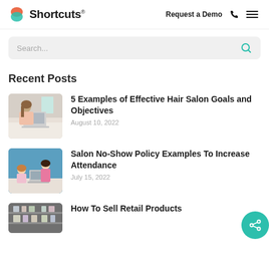Shortcuts | Request a Demo
Search...
Recent Posts
[Figure (photo): Woman working on a laptop at a desk]
5 Examples of Effective Hair Salon Goals and Objectives
August 10, 2022
[Figure (photo): Two women at a salon counter with laptop]
Salon No-Show Policy Examples To Increase Attendance
July 15, 2022
[Figure (photo): Retail products on shelves]
How To Sell Retail Products